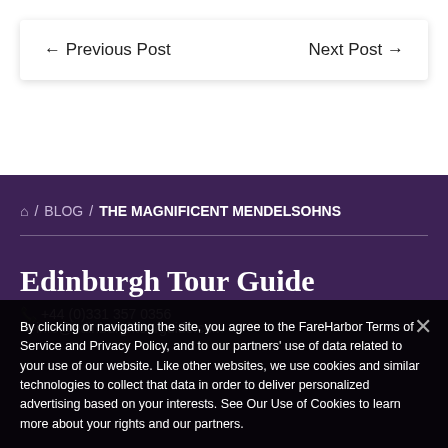← Previous Post    Next Post →
⌂ / BLOG / THE MAGNIFICENT MENDELSOHNS
Edinburgh Tour Guide
+44 (0)331 357 0356
info@edinburghtourguide.com
By clicking or navigating the site, you agree to the FareHarbor Terms of Service and Privacy Policy, and to our partners' use of data related to your use of our website. Like other websites, we use cookies and similar technologies to collect that data in order to deliver personalized advertising based on your interests. See Our Use of Cookies to learn more about your rights and our partners.